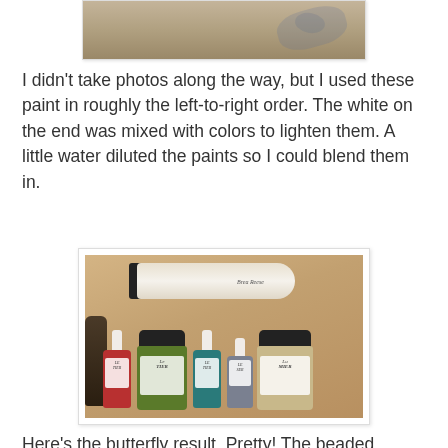[Figure (photo): Partial view of a fabric or beaded craft project on a surface, cropped at top]
I didn't take photos along the way, but I used these paint in roughly the left-to-right order.  The white on the end was mixed with colors to lighten them.  A little water diluted the paints so I could blend them in.
[Figure (photo): Several bottles and jars of paint arranged on a wood-toned surface: a tube of Brea Reese paint, small dropper bottle (red), jar (green), dropper bottle (teal), small dropper bottle (gray-blue), and a larger jar (champagne/gold) — all appear to be Lumiere or similar metallic paints]
Here's the butterfly result.  Pretty!  The beaded hearts and bead trim were sponged with very diluted brown paint.  I